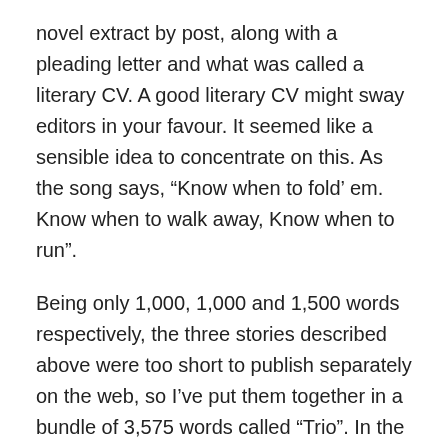novel extract by post, along with a pleading letter and what was called a literary CV. A good literary CV might sway editors in your favour. It seemed like a sensible idea to concentrate on this. As the song says, “Know when to fold’ em. Know when to walk away, Know when to run”.
Being only 1,000, 1,000 and 1,500 words respectively, the three stories described above were too short to publish separately on the web, so I’ve put them together in a bundle of 3,575 words called “Trio”. In the short story collection I’m hoping to put out in 2015, these three stories won’t run together as they do in “Trio”, but will appear separately in various places through the book. Anyone reading them to discover the fate of the four main characters in the collection (O’Neill, Johnson, Lawson and Star) needs to bear this in mind.